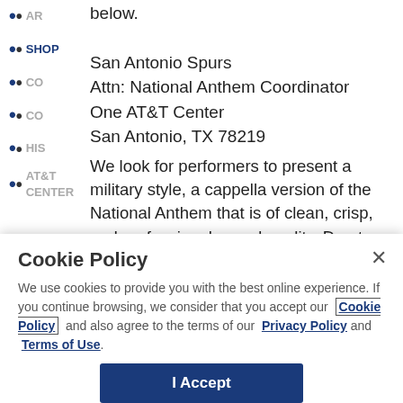below.
SHOP
CON
CO
HIS
AT&T CENTER
San Antonio Spurs
Attn: National Anthem Coordinator
One AT&T Center
San Antonio, TX 78219
We look for performers to present a military style, a cappella version of the National Anthem that is of clean, crisp, and professional sound quality. Due to NBA and television timing restrictions, a National Anthem performance should be NO LONGER than one and a half minutes (90 seconds). We invite artists who play instruments to audition for the National Anthem as well. Lastly, we invite performers who are able to perform the Canadian Anthem, O Canada, to submit demos as
Cookie Policy
We use cookies to provide you with the best online experience. If you continue browsing, we consider that you accept our Cookie Policy and also agree to the terms of our Privacy Policy and Terms of Use.
I Accept